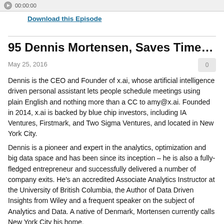00:00:00
Download this Episode
95 Dennis Mortensen, Saves Time with Artif...
May 25, 2016
0
Dennis is the CEO and Founder of x.ai, whose artificial intelligence driven personal assistant lets people schedule meetings using plain English and nothing more than a CC to amy@x.ai. Founded in 2014, x.ai is backed by blue chip investors, including IA Ventures, Firstmark, and Two Sigma Ventures, and located in New York City.
Dennis is a pioneer and expert in the analytics, optimization and big data space and has been since its inception – he is also a fully-fledged entrepreneur and successfully delivered a number of company exits. He's an accredited Associate Analytics Instructor at the University of British Columbia, the Author of Data Driven Insights from Wiley and a frequent speaker on the subject of Analytics and Data. A native of Denmark, Mortensen currently calls New York City his home.